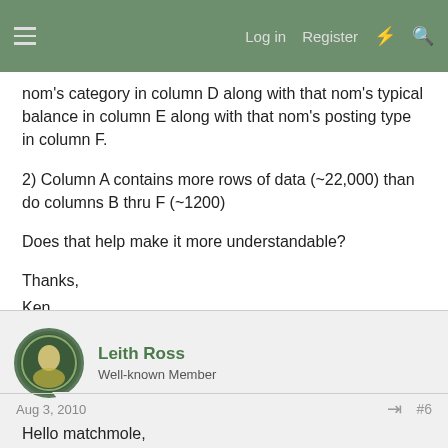Log in   Register
nom's category in column D along with that nom's typical balance in column E along with that nom's posting type in column F.
2) Column A contains more rows of data (~22,000) than do columns B thru F (~1200)
Does that help make it more understandable?
Thanks,
Ken
Leith Ross
Well-known Member
Aug 3, 2010     #6
Hello matchmole,